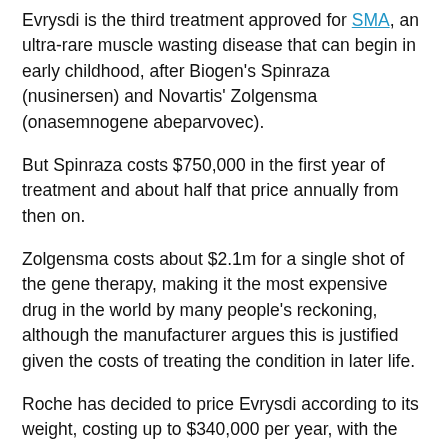Evrysdi is the third treatment approved for SMA, an ultra-rare muscle wasting disease that can begin in early childhood, after Biogen's Spinraza (nusinersen) and Novartis' Zolgensma (onasemnogene abeparvovec).
But Spinraza costs $750,000 in the first year of treatment and about half that price annually from then on.
Zolgensma costs about $2.1m for a single shot of the gene therapy, making it the most expensive drug in the world by many people's reckoning, although the manufacturer argues this is justified given the costs of treating the condition in later life.
Roche has decided to price Evrysdi according to its weight, costing up to $340,000 per year, with the cost being under $100,000 annually for some younger patients.